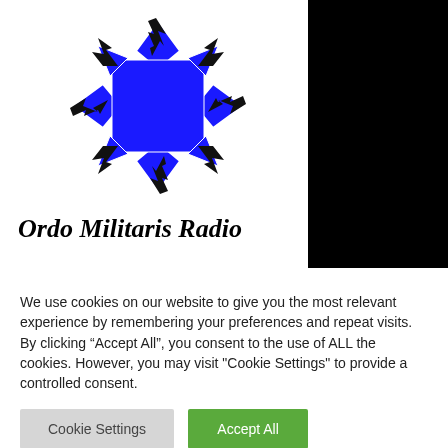[Figure (logo): Ordo Militaris Radio logo: blue Maltese cross with black lightning bolt arms on white background, with text 'Ordo Militaris Radio' in bold italic serif font below]
We use cookies on our website to give you the most relevant experience by remembering your preferences and repeat visits. By clicking “Accept All”, you consent to the use of ALL the cookies. However, you may visit "Cookie Settings" to provide a controlled consent.